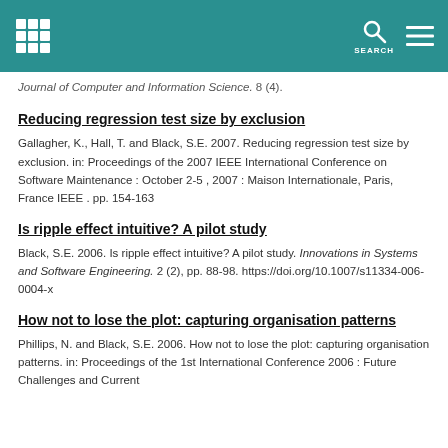[Institution logo] SEARCH [menu icon]
Journal of Computer and Information Science. 8 (4).
Reducing regression test size by exclusion
Gallagher, K., Hall, T. and Black, S.E. 2007. Reducing regression test size by exclusion. in: Proceedings of the 2007 IEEE International Conference on Software Maintenance : October 2-5 , 2007 : Maison Internationale, Paris, France IEEE . pp. 154-163
Is ripple effect intuitive? A pilot study
Black, S.E. 2006. Is ripple effect intuitive? A pilot study. Innovations in Systems and Software Engineering. 2 (2), pp. 88-98. https://doi.org/10.1007/s11334-006-0004-x
How not to lose the plot: capturing organisation patterns
Phillips, N. and Black, S.E. 2006. How not to lose the plot: capturing organisation patterns. in: Proceedings of the 1st International Conference 2006 : Future Challenges and Current